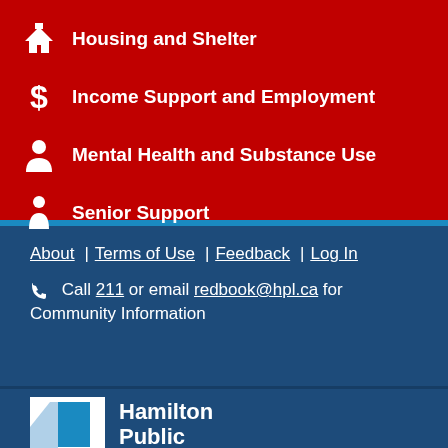Housing and Shelter
Income Support and Employment
Mental Health and Substance Use
Senior Support
About | Terms of Use | Feedback | Log In
Call 211 or email redbook@hpl.ca for Community Information
[Figure (logo): Hamilton Public Library logo with blue and white graphic element]